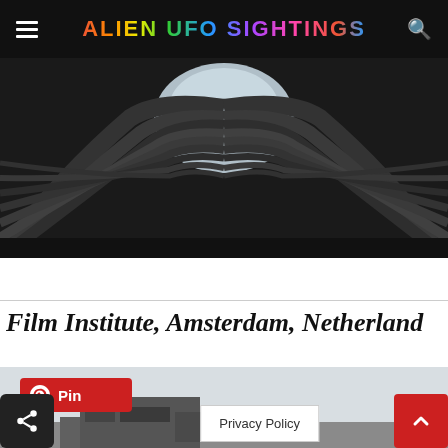ALIEN UFO SIGHTINGS
[Figure (photo): Upward-looking architectural photo of a dark curved ribbed building with a bright sky opening at the top center]
Film Institute, Amsterdam, Netherland
[Figure (photo): Second photo showing a flat skyline with buildings and overcast sky, with a Pinterest Pin button overlay and share/back-to-top UI buttons]
Privacy Policy